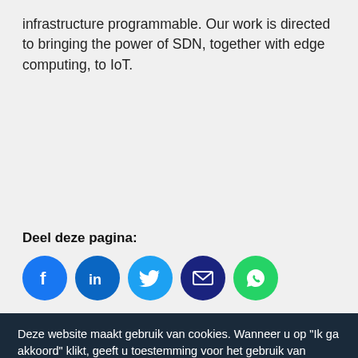infrastructure programmable. Our work is directed to bringing the power of SDN, together with edge computing, to IoT.
Deel deze pagina:
[Figure (infographic): Row of five circular social media share buttons: Facebook (blue), LinkedIn (blue), Twitter (light blue), Email (dark navy), WhatsApp (green)]
Deze website maakt gebruik van cookies. Wanneer u op "Ik ga akkoord" klikt, geeft u toestemming voor het gebruik van cookies. Wat zijn cookies?
TU Delft | Delft on Internet of Things
[Figure (logo): TU Delft logo (white arrow/flag icon with TUDelft text) and cookie icon, followed by two buttons: red 'Ik ga niet akkoord' and green 'Ik ga akkoord']